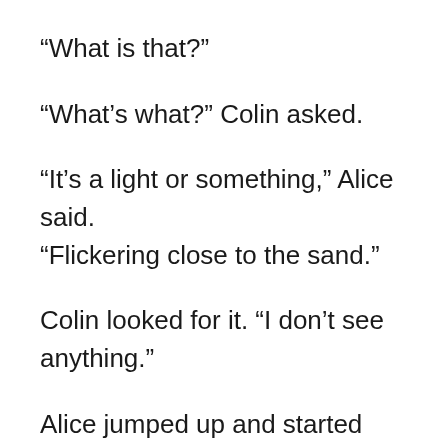“What is that?”
“What’s what?” Colin asked.
“It’s a light or something,” Alice said. “Flickering close to the sand.”
Colin looked for it. “I don’t see anything.”
Alice jumped up and started toward the water. Colin followed and finally saw it. They stopped where the waves gently splashed their feet. They kept watching as the waves were bringing the light closer to the shore.